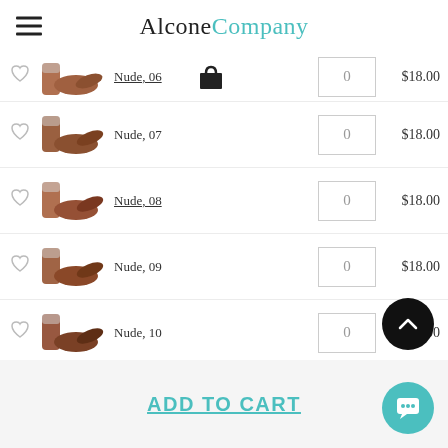AlconeCompany
Nude, 06 — $18.00
Nude, 07 — $18.00
Nude, 08 — $18.00
Nude, 09 — $18.00
Nude, 10 — $18.00
Nude, 11 — $18.00
ADD TO CART